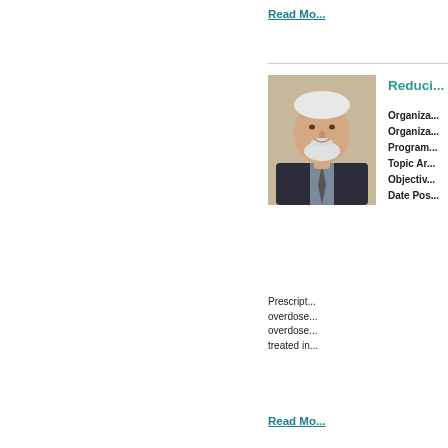Read Mo...
[Figure (photo): Headshot photo of an older man with white hair and beard wearing a dark suit jacket]
Reduci...
Organiza...
Organiza...
Program...
Topic Ar...
Objectiv...
Date Pos...
Prescription overdose... overdose... treated in...
Read Mo...